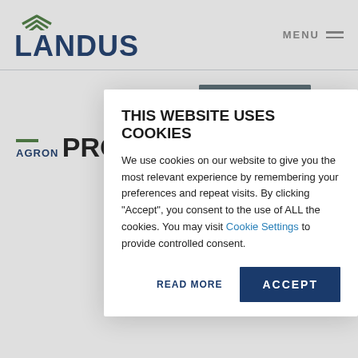LANDUS — MENU
AGRON
PRO
Posted o
[Figure (screenshot): Social media share icons: Facebook (f) and Twitter bird]
[Figure (photo): Partial article image, dark/gray tones]
THIS WEBSITE USES COOKIES
We use cookies on our website to give you the most relevant experience by remembering your preferences and repeat visits. By clicking "Accept", you consent to the use of ALL the cookies. You may visit Cookie Settings to provide controlled consent.
READ MORE  ACCEPT